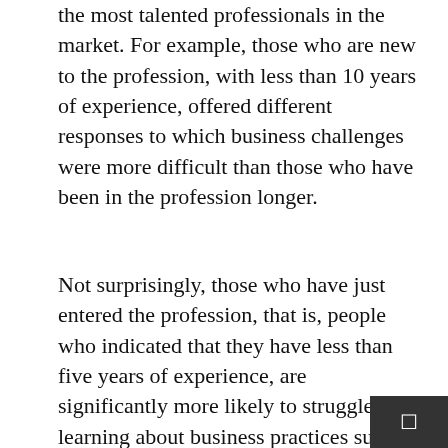the most talented professionals in the market. For example, those who are new to the profession, with less than 10 years of experience, offered different responses to which business challenges were more difficult than those who have been in the profession longer.
Not surprisingly, those who have just entered the profession, that is, people who indicated that they have less than five years of experience, are significantly more likely to struggle with learning about business practices such as filing income taxes, obtaining health insurance, and the general business issues that come with working as a freelancer. In fact, based on the feedback from respondents, getting a solid handle on business practices not specific to the field of court reporting is a sizeable business challenge for as long as 10 years after graduating. After those early years out of school, more experienced court reporters demonstrate a higher level of comfort with the business practices surrounding working as a